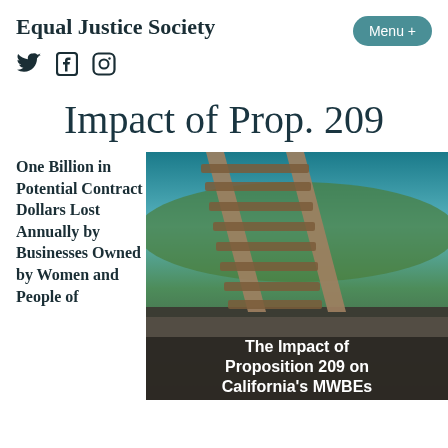Equal Justice Society
[Figure (other): Social media icons: Twitter bird, Facebook f, Instagram camera outline]
Impact of Prop. 209
One Billion in Potential Contract Dollars Lost Annually by Businesses Owned by Women and People of
[Figure (photo): Railroad tracks splitting apart at a cliff edge, symbolic of inequality. Overlaid text reads: The Impact of Proposition 209 on California's MWBEs]